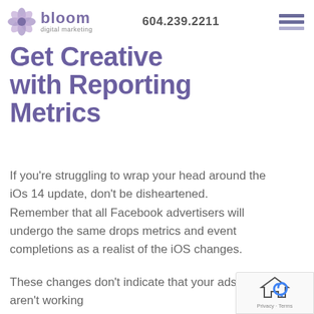bloom digital marketing | 604.239.2211
Get Creative with Reporting Metrics
If you’re struggling to wrap your head around the iOs 14 update, don’t be disheartened. Remember that all Facebook advertisers will undergo the same drops metrics and event completions as a realist of the iOS changes.
These changes don’t indicate that your ads aren’t working